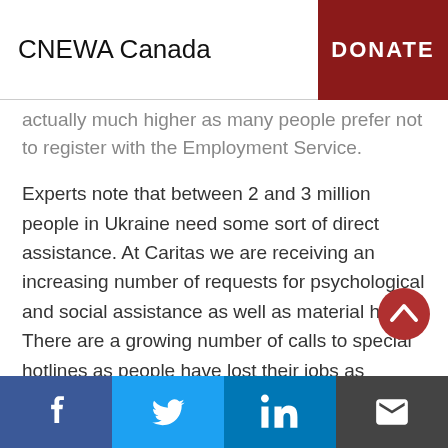CNEWA Canada | DONATE
actually much higher as many people prefer not to register with the Employment Service.
Experts note that between 2 and 3 million people in Ukraine need some sort of direct assistance. At Caritas we are receiving an increasing number of requests for psychological and social assistance as well as material help. There are a growing number of calls to special hotlines as people have lost their jobs as businesses close. Our staff reports that beneficiaries now need assistance with food and
Facebook | Twitter | LinkedIn | Email